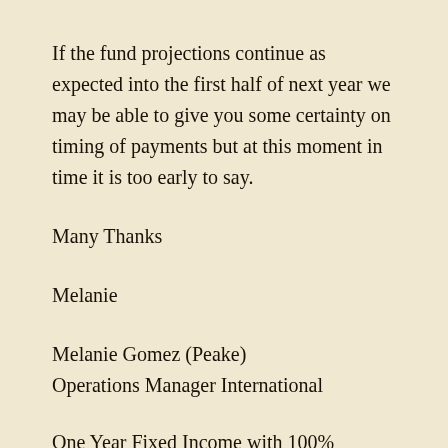If the fund projections continue as expected into the first half of next year we may be able to give you some certainty on timing of payments but at this moment in time it is too early to say.
Many Thanks
Melanie
Melanie Gomez (Peake)
Operations Manager International
One Year Fixed Income with 100% Capital Protection for the first 30% stock price fall